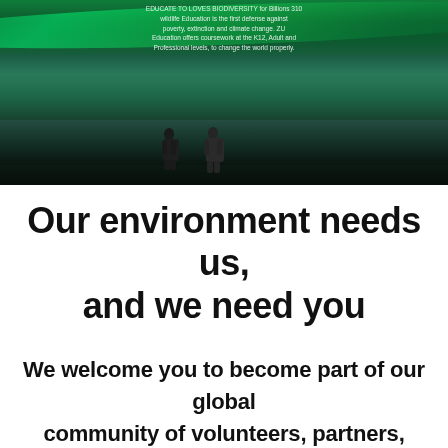[Figure (photo): Two people kneeling on a glacier or icy landscape at night with green aurora borealis (northern lights) glowing in the sky above. Dark teal and green tones dominate the landscape.]
EDUCATE TO LOVES BIODIVERSITY for Billions 310 wildlife Education is the first defense against poverty, extinction and climate change. ZU Education offers coursework at the K12, Adult and Professional levels, to change the world properly.
Our environment needs us, and we need you
We welcome you to become part of our global community of volunteers, partners, sponsors, and other supporters. Together, we can shape the future